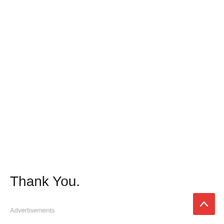Thank You.
Advertisements
[Figure (other): Red square button with white upward chevron arrow, positioned in bottom-right corner]